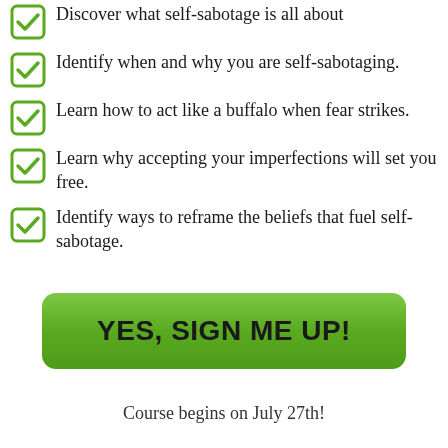Discover what self-sabotage is all about
Identify when and why you are self-sabotaging.
Learn how to act like a buffalo when fear strikes.
Learn why accepting your imperfections will set you free.
Identify ways to reframe the beliefs that fuel self-sabotage.
YES, SIGN ME UP!
Course begins on July 27th!